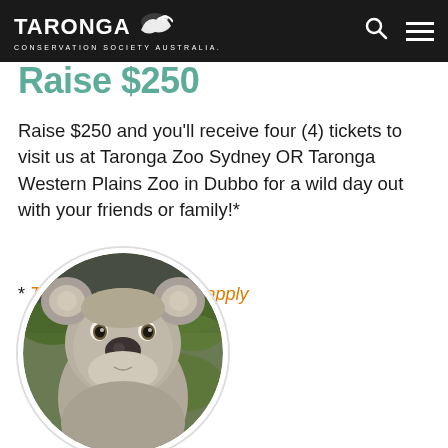TARONGA CONSERVATION SOCIETY AUSTRALIA.
Raise $250
Raise $250 and you'll receive four (4) tickets to visit us at Taronga Zoo Sydney OR Taronga Western Plains Zoo in Dubbo for a wild day out with your friends or family!*
* Terms and conditions apply
[Figure (photo): Circular cropped photo of a koala looking directly at the camera, with green foliage in the background.]